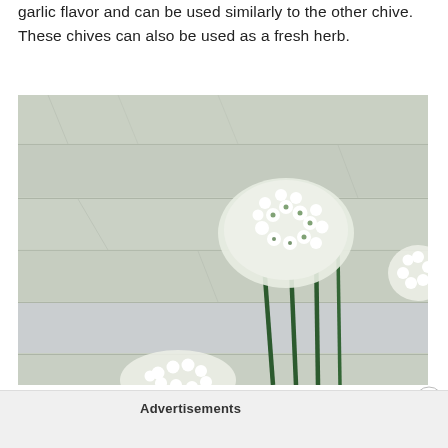garlic flavor and can be used similarly to the other chive. These chives can also be used as a fresh herb.
[Figure (photo): Close-up photograph of white garlic chive flowers (Allium tuberosum) with thin green stems against a light grey wood panel background. White clustered star-shaped blooms visible in the foreground and right side.]
Advertisements